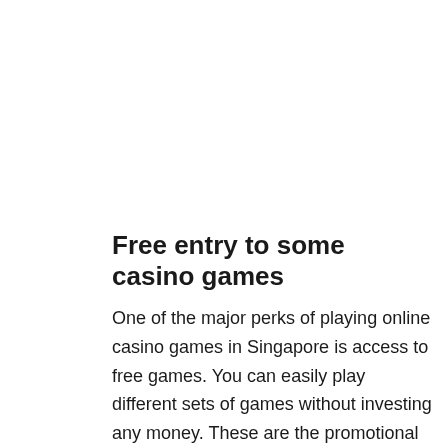Free entry to some casino games
One of the major perks of playing online casino games in Singapore is access to free games. You can easily play different sets of games without investing any money. These are the promotional